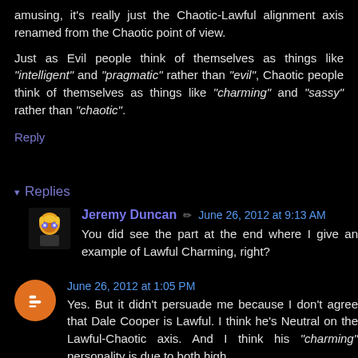amusing, it's really just the Chaotic-Lawful alignment axis renamed from the Chaotic point of view.
Just as Evil people think of themselves as things like "intelligent" and "pragmatic" rather than "evil", Chaotic people think of themselves as things like "charming" and "sassy" rather than "chaotic".
Reply
▾ Replies
Jeremy Duncan ✏ June 26, 2012 at 9:13 AM
You did see the part at the end where I give an example of Lawful Charming, right?
June 26, 2012 at 1:05 PM
Yes. But it didn't persuade me because I don't agree that Dale Cooper is Lawful. I think he's Neutral on the Lawful-Chaotic axis. And I think his "charming" personality is due to both high